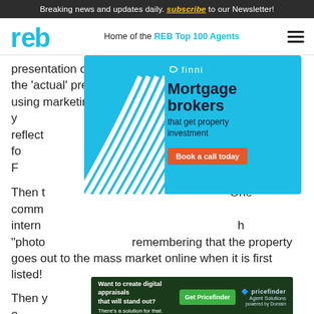Breaking news and updates daily. subscribe to our Newsletter!
reb - Home of the REB Top 100 Agents
presentation of the online marketing should also reflect the 'actual' presentation of the property. If you are using marketing images taken three years ago, y... reflect... sale and fo... as the sign! F...
[Figure (other): Finni Mortgage brokers advertisement - teal background with wave pattern, text: Mortgage brokers that get property investment, Book a call today]
Then t... One comm... intern... h "photo... remembering that the property goes out to the mass market online when it is first listed!
[Figure (other): Pricefinder Agent Solutions advertisement - dark green background, Want to create digital appraisals that will stand out? Get Pricefinder]
Then y... ome kind o... not